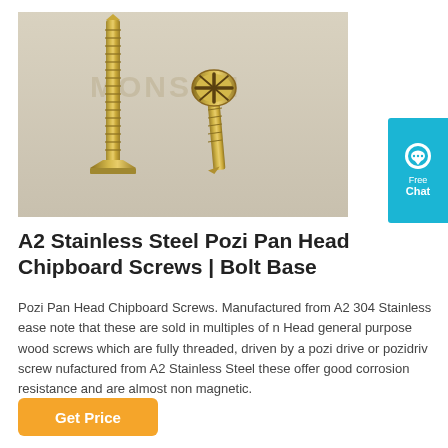[Figure (photo): Two gold/brass-colored Pozi Pan Head Chipboard Screws on a light background. The left screw stands vertically tall showing its threaded shaft and flat countersunk head at the bottom. The right screw is shorter and shows the top cross/pozi drive head face-on. A watermark reads MONSUN in the background.]
A2 Stainless Steel Pozi Pan Head Chipboard Screws | Bolt Base
Pozi Pan Head Chipboard Screws. Manufactured from A2 304 Stainless ease note that these are sold in multiples of n Head general purpose wood screws which are fully threaded, driven by a pozi drive or pozidriv screw nufactured from A2 Stainless Steel these offer good corrosion resistance and are almost non magnetic.
Get Price